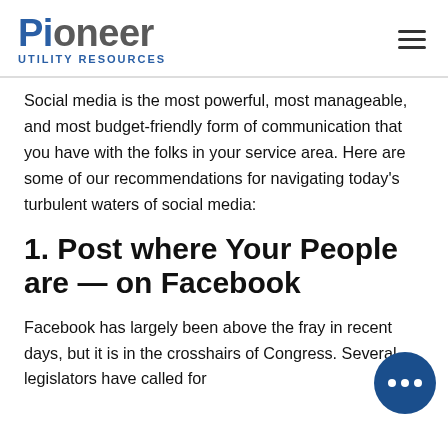Pioneer Utility Resources
Social media is the most powerful, most manageable, and most budget-friendly form of communication that you have with the folks in your service area. Here are some of our recommendations for navigating today’s turbulent waters of social media:
1. Post where Your People are — on Facebook
Facebook has largely been above the fray in recent days, but it is in the crosshairs of Congress. Several legislators have called for